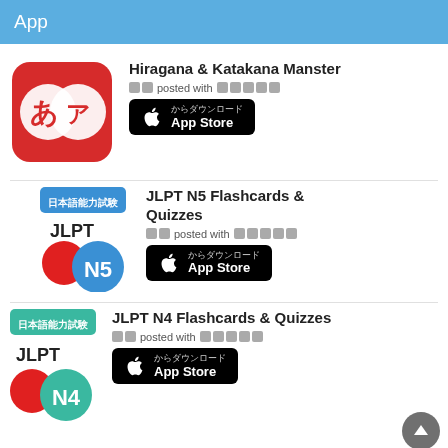App
[Figure (illustration): Hiragana & Katakana Monster app icon: red rounded square with white circles containing hiragana あ and katakana ア characters]
Hiragana & Katakana Manster
🔲🔲 posted with 🔲🔲🔲🔲🔲
[Figure (illustration): App Store download button (Japanese): black rounded rectangle with Apple logo, 'App Store からダウンロード']
[Figure (illustration): JLPT N5 Flashcards & Quizzes app icon: blue badge 日本語能力試験, JLPT text, red circle and blue N5 circle]
JLPT N5 Flashcards & Quizzes
🔲🔲 posted with 🔲🔲🔲🔲🔲
[Figure (illustration): App Store download button (Japanese): black rounded rectangle with Apple logo, 'App Store からダウンロード']
[Figure (illustration): JLPT N4 Flashcards & Quizzes app icon: teal badge 日本語能力試験, JLPT text, red circle and teal N4 circle]
JLPT N4 Flashcards & Quizzes
🔲🔲 posted with 🔲🔲🔲🔲🔲
[Figure (illustration): App Store download button (Japanese): black rounded rectangle with Apple logo, 'App Store からダウンロード']